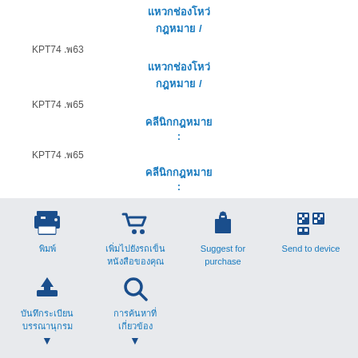แหวกช่องโหว่กฎหมาย /
KPT74 .พ63
แหวกช่องโหว่กฎหมาย /
KPT74 .พ65
คลีนิกกฎหมาย :
KPT74 .พ65
คลีนิกกฎหมาย :
ห้องสมุด:
[Figure (infographic): Action buttons grid with icons: พิมพ์ (print), เพิ่มไปยังรถเข็นหนังสือของคุณ (add to cart), Suggest for purchase, Send to device, บันทึกระเบียนบรรณานุกรม (save record), การค้นหาที่เกี่ยวข้อง (related search)]